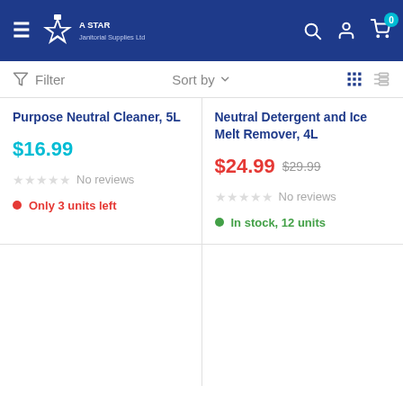A Star Janitorial Supplies Ltd — navigation header
Filter  Sort by
Purpose Neutral Cleaner, 5L
$16.99
No reviews
Only 3 units left
Neutral Detergent and Ice Melt Remover, 4L
$24.99  $29.99
No reviews
In stock, 12 units